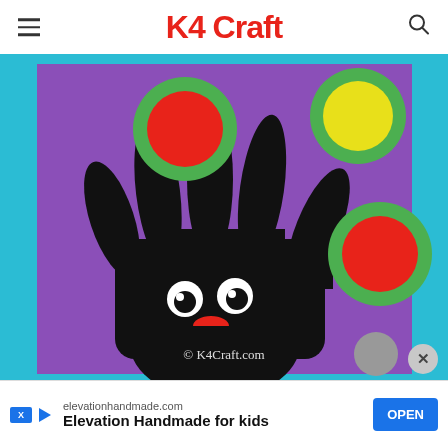K4 Craft
[Figure (photo): A children's craft showing a black hand cutout on a purple background, with colorful paper circles (green border with red center, green border with yellow center, green border with red center) held above the fingers like balloons. The hand has googly eyes and a red semicircle smile on the palm area. The image has a cyan/teal border and shows '© K4Craft.com' watermark at the bottom.]
© K4Craft.com
elevationhandmade.com
Elevation Handmade for kids